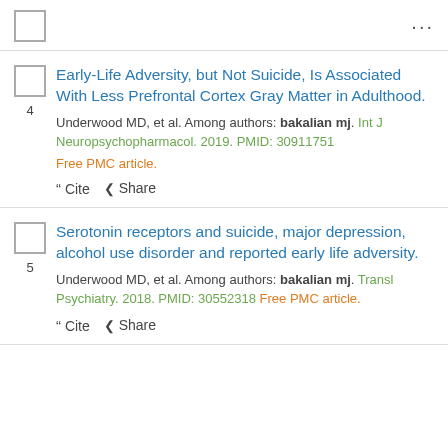...
4. Early-Life Adversity, but Not Suicide, Is Associated With Less Prefrontal Cortex Gray Matter in Adulthood. Underwood MD, et al. Among authors: bakalian mj. Int J Neuropsychopharmacol. 2019. PMID: 30911751 Free PMC article.
5. Serotonin receptors and suicide, major depression, alcohol use disorder and reported early life adversity. Underwood MD, et al. Among authors: bakalian mj. Transl Psychiatry. 2018. PMID: 30552318 Free PMC article.